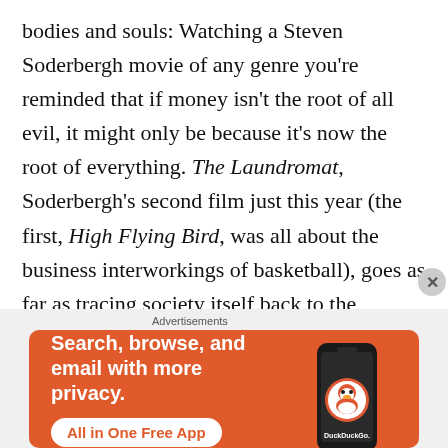bodies and souls: Watching a Steven Soderbergh movie of any genre you're reminded that if money isn't the root of all evil, it might only be because it's now the root of everything. The Laundromat, Soderbergh's second film just this year (the first, High Flying Bird, was all about the business interworkings of basketball), goes as far as tracing society itself back to the invention of currency. In the opening scene, two tuxedoed movie stars, Gary Oldman and Antonio Banderas (later learned to be playing Jürgen Mossack and Ramón Fonesca), make tha
[Figure (other): DuckDuckGo advertisement banner with orange background showing 'Search, browse, and email with more privacy. All in One Free App' with a phone mockup displaying DuckDuckGo logo]